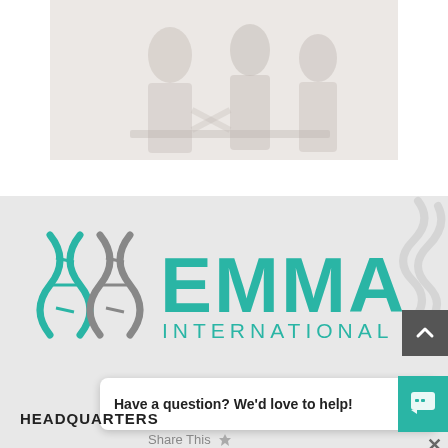[Figure (photo): Faded/washed-out photo of business people in a meeting or collaborative setting, light and pale tones]
[Figure (logo): EMMA International logo — teal DNA/wave symbol on left, teal text EMMA in large letters, INTERNATIONAL in smaller letters below]
Have a question? We'd love to help!
Share This
HEADQUARTERS